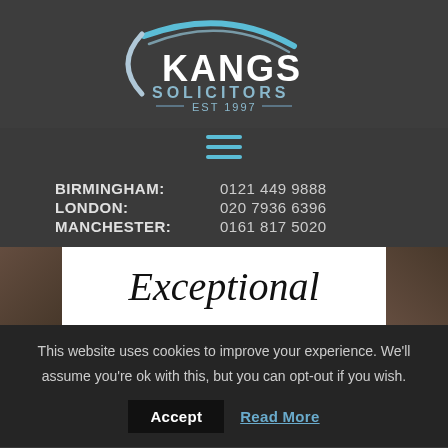[Figure (logo): Kangs Solicitors logo with swoosh arc design in blue/white and text 'KANGS SOLICITORS EST 1997' on dark background]
[Figure (other): Hamburger menu icon (three horizontal lines) in blue/cyan color]
BIRMINGHAM:  0121 449 9888
LONDON:  020 7936 6396
MANCHESTER:  0161 817 5020
Exceptional
This website uses cookies to improve your experience. We'll assume you're ok with this, but you can opt-out if you wish.
Accept  Read More